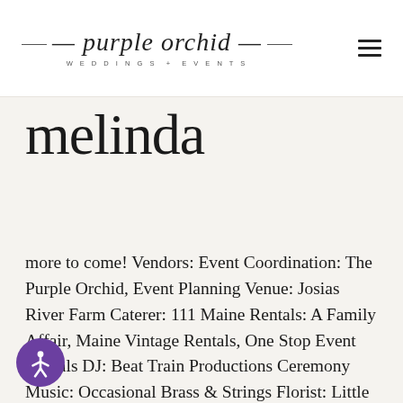purple orchid WEDDINGS + EVENTS
melinda
more to come! Vendors: Event Coordination: The Purple Orchid, Event Planning Venue: Josias River Farm Caterer: 111 Maine Rentals: A Family Affair, Maine Vintage Rentals, One Stop Event Rentals DJ: Beat Train Productions Ceremony Music: Occasional Brass & Strings Florist: Little River Flower Farm Officiant: A Sweet rt Cake / Dessert: Ahimsa Cake Photographer: Xu...